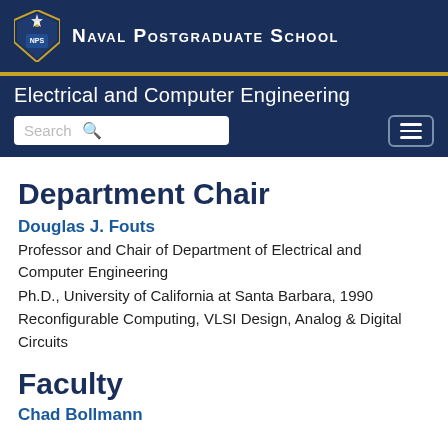Naval Postgraduate School
Electrical and Computer Engineering
Department Chair
Douglas J. Fouts
Professor and Chair of Department of Electrical and Computer Engineering
Ph.D., University of California at Santa Barbara, 1990
Reconfigurable Computing, VLSI Design, Analog & Digital Circuits
Faculty
Chad Bollmann